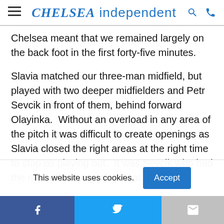CHELSEA independent
Chelsea meant that we remained largely on the back foot in the first forty-five minutes.
Slavia matched our three-man midfield, but played with two deeper midfielders and Petr Sevcik in front of them, behind forward Olayinka.  Without an overload in any area of the pitch it was difficult to create openings as Slavia closed the right areas at the right time to stop us playing out.  It was Sevcik who had the next effort on goal. A neat triangle
This website uses cookies. Accept
Facebook share | Twitter share | Gmail share